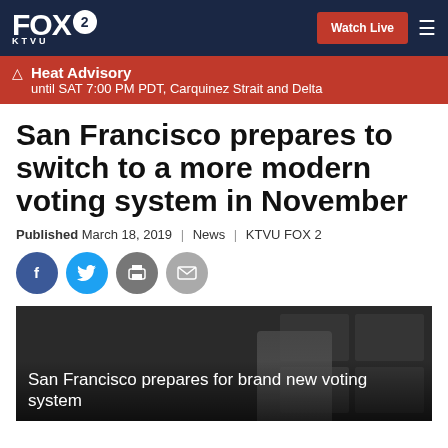FOX 2 KTVU | Watch Live
Heat Advisory until SAT 7:00 PM PDT, Carquinez Strait and Delta
San Francisco prepares to switch to a more modern voting system in November
Published March 18, 2019 | News | KTVU FOX 2
[Figure (screenshot): Social sharing icons: Facebook, Twitter, Print, Email]
[Figure (photo): Video thumbnail showing a person at a desk with screens in background, text overlay reads: San Francisco prepares for brand new voting system]